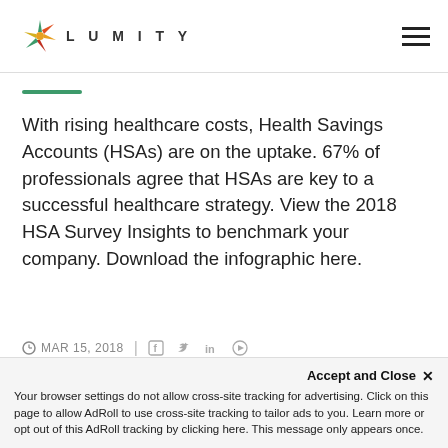LUMITY
With rising healthcare costs, Health Savings Accounts (HSAs) are on the uptake. 67% of professionals agree that HSAs are key to a successful healthcare strategy. View the 2018 HSA Survey Insights to benchmark your company. Download the infographic here.
MAR 15, 2018
Accept and Close ✕ Your browser settings do not allow cross-site tracking for advertising. Click on this page to allow AdRoll to use cross-site tracking to tailor ads to you. Learn more or opt out of this AdRoll tracking by clicking here. This message only appears once.